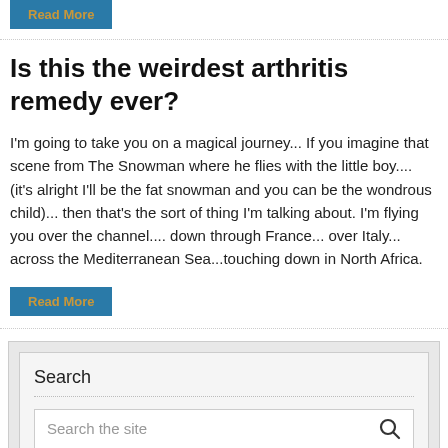Read More
Is this the weirdest arthritis remedy ever?
I'm going to take you on a magical journey... If you imagine that scene from The Snowman where he flies with the little boy.... (it's alright I'll be the fat snowman and you can be the wondrous child)... then that's the sort of thing I'm talking about. I'm flying you over the channel.... down through France... over Italy... across the Mediterranean Sea...touching down in North Africa.
Read More
Search
Search the site